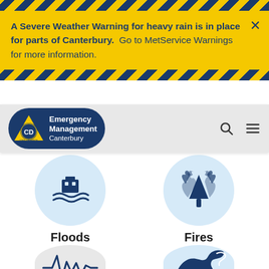A Severe Weather Warning for heavy rain is in place for parts of Canterbury.  Go to MetService Warnings for more information.
[Figure (logo): Emergency Management Canterbury Civil Defence logo — blue pill-shaped badge with yellow triangle CD icon and white text]
[Figure (illustration): Flood icon — blue building/house on waves in light blue circle]
Floods
[Figure (illustration): Fire icon — blue tree with flames in light blue circle]
Fires
[Figure (illustration): Earthquake/seismic icon — heartbeat waveform line in light grey circle]
[Figure (illustration): Tsunami icon — large blue wave in light blue circle]